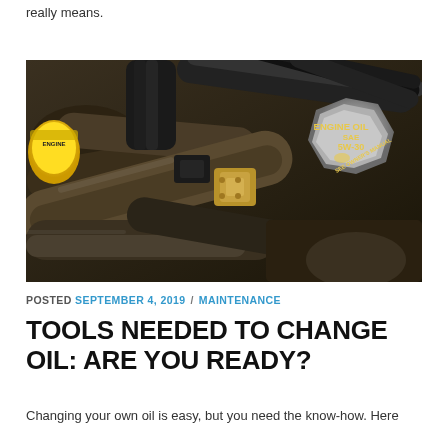really means.
[Figure (photo): Close-up photograph of a car engine bay showing hoses, cables, and a gray engine oil cap labeled 'ENGINE OIL SAE 5W-30 SEE OWNER'S MANUAL'. A yellow cap is visible on the left.]
POSTED SEPTEMBER 4, 2019 / MAINTENANCE
TOOLS NEEDED TO CHANGE OIL: ARE YOU READY?
Changing your own oil is easy, but you need the know-how. Here